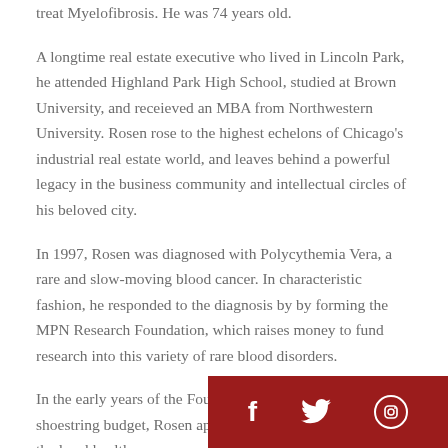treat Myelofibrosis. He was 74 years old.
A longtime real estate executive who lived in Lincoln Park, he attended Highland Park High School, studied at Brown University, and receieved an MBA from Northwestern University. Rosen rose to the highest echelons of Chicago's industrial real estate world, and leaves behind a powerful legacy in the business community and intellectual circles of his beloved city.
In 1997, Rosen was diagnosed with Polycythemia Vera, a rare and slow-moving blood cancer. In characteristic fashion, he responded to the diagnosis by by forming the MPN Research Foundation, which raises money to fund research into this variety of rare blood disorders.
In the early years of the Foundation, working on a shoestring budget, Rosen app...
[Figure (other): Social media share bar with Facebook, Twitter, and Instagram icons on a dark red background, positioned at bottom right of page.]